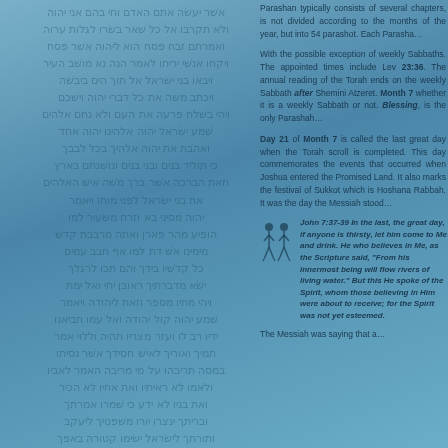[Figure (illustration): Background watermark of Hebrew text in blue tones overlaid on gradient blue background, with two small human figure icons near the quote box]
Parashan typically consists of several chapters, is not divided according to the months of the year, but into 54 parashot. Each Parasha...
With the possible exception of weekly Sabbaths. The appointed times include Lev 23:36. The annual reading of the Torah ends on the weekly Sabbath after Shemini Atzeret. Day 1 of Month 7 whether it is a weekly Sabbath or not. Blessing, is the only Parashah...
Day 21 of Month 7 is called the last great day when the Torah scroll is completed. This day commemorates the events that occurred when Joshua entered the Promised Land. It also marks the festival of Sukkot which is Hoshana Rabbah. It was the day the Messiah stood...
John 7:37-39 In the last, the great day, if anyone is thirsty, let him come to Me and drink. He who believes in Me, as the Scripture said, "From his innermost being will flow rivers of living water." But this He spoke of the Spirit, whom those believing in Him were about to receive; for the Spirit was not yet esteemed.
The Messiah was saying that a...